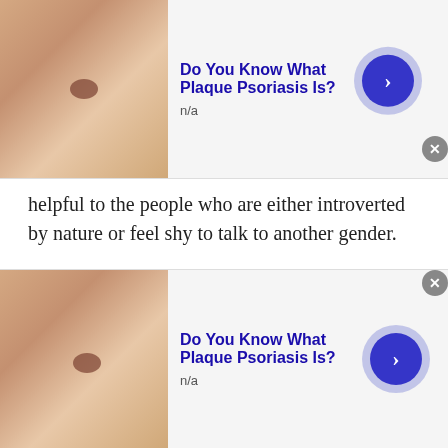[Figure (other): Advertisement banner at top: skin close-up image on left, 'Do You Know What Plaque Psoriasis Is?' title in blue, 'n/a' subtitle, blue arrow button on right, close X button]
helpful to the people who are either introverted by nature or feel shy to talk to another gender.
Make New Friends:
The world has now become a global village. Everything is interconnected when you chat with people of Thailand or any other. As compared to the early days of technology, when making new friends over different nationalities was just a fantasy. Now
[Figure (other): Advertisement banner at bottom: skin close-up image on left, 'Do You Know What Plaque Psoriasis Is?' title in blue, 'n/a' subtitle, blue arrow button on right, close X button]